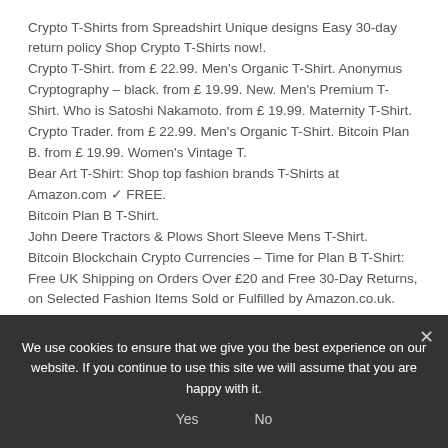Crypto T-Shirts from Spreadshirt Unique designs Easy 30-day return policy Shop Crypto T-Shirts now!. Crypto T-Shirt. from £ 22.99. Men's Organic T-Shirt. Anonymus Cryptography – black. from £ 19.99. New. Men's Premium T-Shirt. Who is Satoshi Nakamoto. from £ 19.99. Maternity T-Shirt. Crypto Trader. from £ 22.99. Men's Organic T-Shirt. Bitcoin Plan B. from £ 19.99. Women's Vintage T. Bear Art T-Shirt: Shop top fashion brands T-Shirts at Amazon.com ✓ FREE.
Bitcoin Plan B T-Shirt.
John Deere Tractors & Plows Short Sleeve Mens T-Shirt.
Bitcoin Blockchain Crypto Currencies – Time for Plan B T-Shirt: Free UK Shipping on Orders Over £20 and Free 30-Day Returns, on Selected Fashion Items Sold or Fulfilled by Amazon.co.uk.
We use cookies to ensure that we give you the best experience on our website. If you continue to use this site we will assume that you are happy with it.
Yes    No